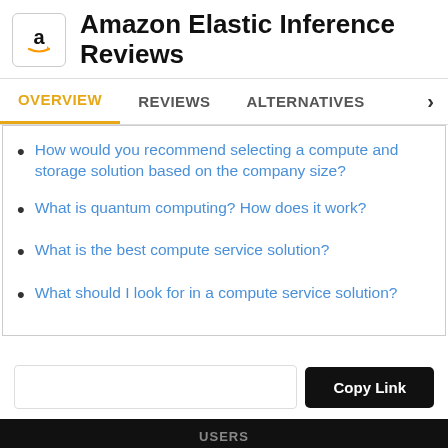Amazon Elastic Inference Reviews
How would you recommend selecting a compute and storage solution based on the company size?
What is quantum computing? How does it work?
What is the best compute service solution?
What should I look for in a compute service solution?